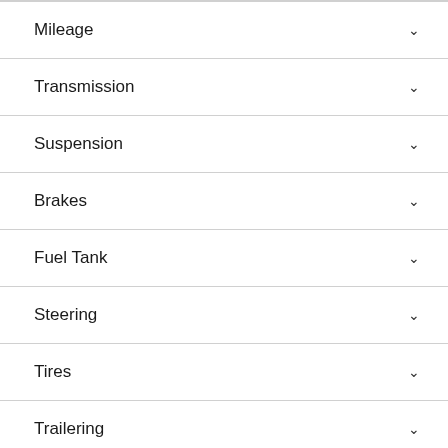Mileage
Transmission
Suspension
Brakes
Fuel Tank
Steering
Tires
Trailering